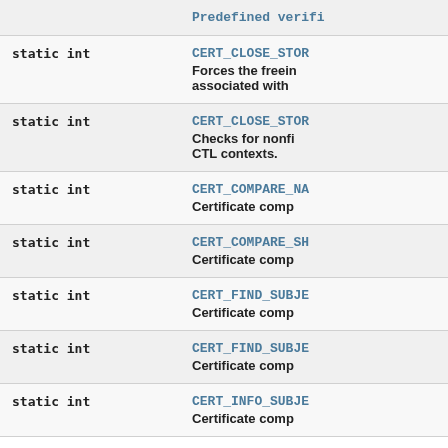| Type | Description |
| --- | --- |
| static int | CERT_CLOSE_STOR...
Forces the freein...
associated with... |
| static int | CERT_CLOSE_STOR...
Checks for nonf...
CTL contexts. |
| static int | CERT_COMPARE_NA...
Certificate comp... |
| static int | CERT_COMPARE_SH...
Certificate comp... |
| static int | CERT_FIND_SUBJE...
Certificate comp... |
| static int | CERT_FIND_SUBJE...
Certificate comp... |
| static int | CERT_INFO_SUBJE...
Certificate comp... |